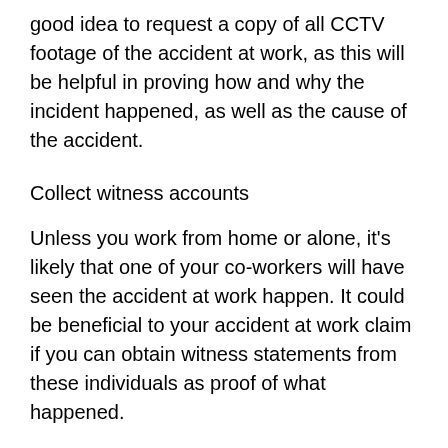good idea to request a copy of all CCTV footage of the accident at work, as this will be helpful in proving how and why the incident happened, as well as the cause of the accident.
Collect witness accounts
Unless you work from home or alone, it's likely that one of your co-workers will have seen the accident at work happen. It could be beneficial to your accident at work claim if you can obtain witness statements from these individuals as proof of what happened.
Take photos
If you are able to, it is a good idea to take photographs of the scene and cause of your accident, as well of the injuries you have suffered as a result of the accident. You can also